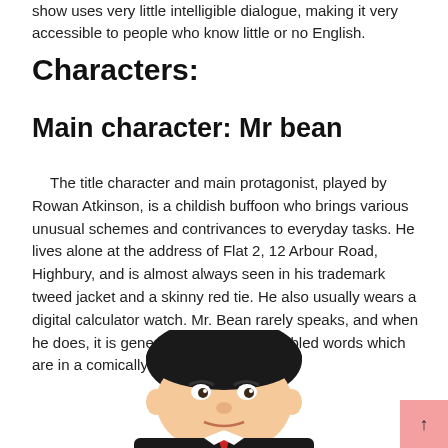show uses very little intelligible dialogue, making it very accessible to people who know little or no English.
Characters:
Main character: Mr bean
The title character and main protagonist, played by Rowan Atkinson, is a childish buffoon who brings various unusual schemes and contrivances to everyday tasks. He lives alone at the address of Flat 2, 12 Arbour Road, Highbury, and is almost always seen in his trademark tweed jacket and a skinny red tie. He also usually wears a digital calculator watch. Mr. Bean rarely speaks, and when he does, it is generally only a few mumbled words which are in a comically low-pitched voice.
[Figure (illustration): Cartoon illustration of Mr Bean's face and upper torso, showing his dark hair, signature expressions, and red tie against a dark jacket, partially visible at the bottom of the page.]